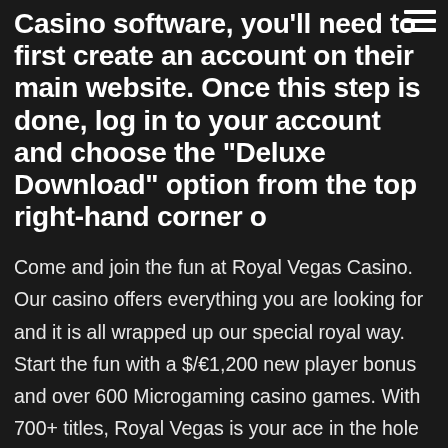hamburger menu icon
Casino software, you'll need to first create an account on their main website. Once this step is done, log in to your account and choose the “Deluxe Download” option from the top right-hand corner o
Come and join the fun at Royal Vegas Casino. Our casino offers everything you are looking for and it is all wrapped up our special royal way. Start the fun with a $/€1,200 new player bonus and over 600 Microgaming casino games. With 700+ titles, Royal Vegas is your ace in the hole for casino games and slots. Casual games, table games, online slots – experience the royal treatment! The Casino Royale, or the "Royale With Cheese" as my brother and I call it, used to be the pace to go for table games, especially craps, if